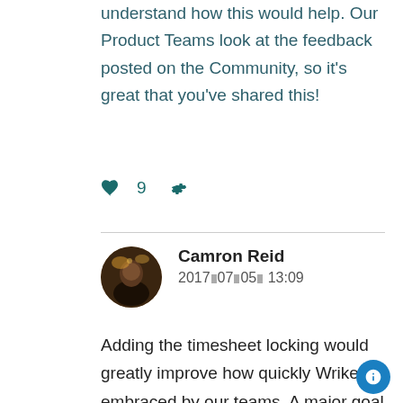understand how this would help. Our Product Teams look at the feedback posted on the Community, so it's great that you've shared this!
♥ 9  ⚙
Camron Reid
2017▪07▪05▪ 13:09
Adding the timesheet locking would greatly improve how quickly Wrike is embraced by our teams.  A major goal in moving to Wrike was to simplify the project management and time tracking process.  Entering time within